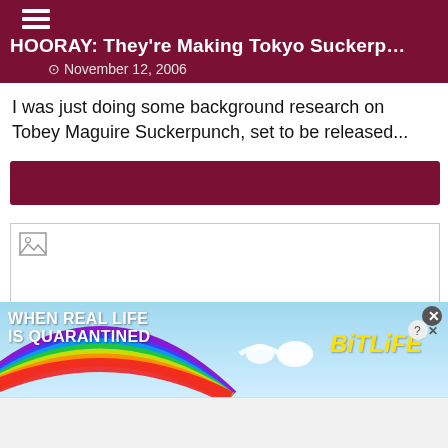HOORAY: They're Making Tokyo Suckerpunch
November 12, 2006
I was just doing some background research on Tobey Maguire Suckerpunch, set to be released...
[Figure (other): Dark maroon/burgundy horizontal bar element]
[Figure (other): Broken image placeholder with broken image icon in top-left corner]
[Figure (other): BitLife advertisement banner with rainbow gradient background, text 'WHEN REAL LIFE IS QUARANTINED' on left and BitLife logo in yellow on right with emoji characters]